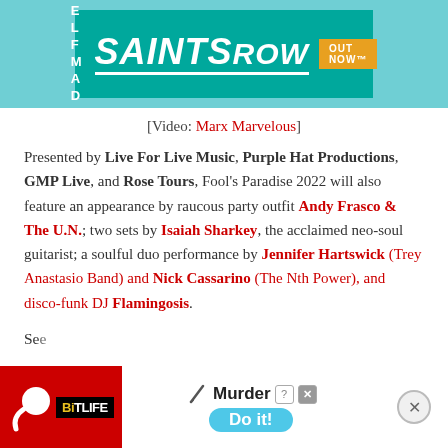[Figure (photo): Saints Row video game advertisement banner with teal background. Text reads 'SELF MADE' on left, 'SAINTS ROW' logo in large white bold italic text, with 'OUT NOW' badge in orange.]
[Video: Marx Marvelous]
Presented by Live For Live Music, Purple Hat Productions, GMP Live, and Rose Tours, Fool's Paradise 2022 will also feature an appearance by raucous party outfit Andy Frasco & The U.N.; two sets by Isaiah Sharkey, the acclaimed neo-soul guitarist; a soulful duo performance by Jennifer Hartswick (Trey Anastasio Band) and Nick Cassarino (The Nth Power), and disco-funk DJ Flamingosis.
[Figure (photo): BitLife mobile game advertisement. Red background with sperm icon and BitLife logo. Murder scenario with 'Do it!' blue button. Close buttons visible.]